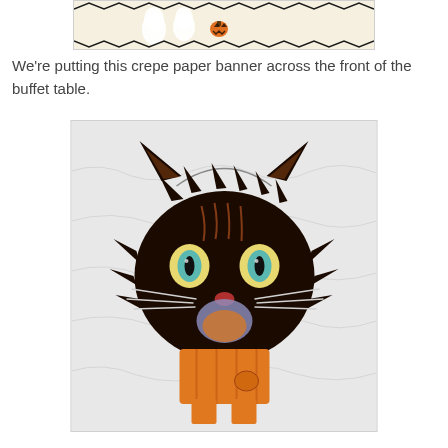[Figure (photo): Partial view of a Halloween crepe paper banner with illustrated ghosts and a jack-o-lantern on a light beige background]
We're putting this crepe paper banner across the front of the buffet table.
[Figure (photo): Vintage Halloween black cat face decoration/mask with wide yellow and blue eyes, open mouth, whiskers, and orange bowtie/collar, photographed on a white crinkled fabric background]